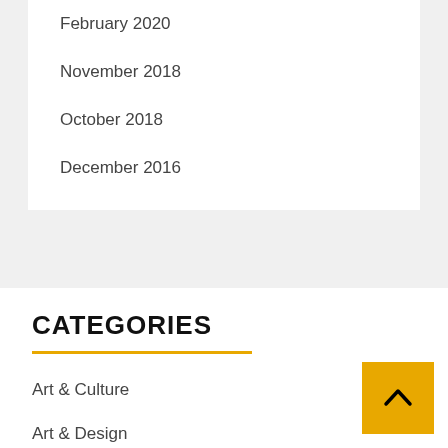February 2020
November 2018
October 2018
December 2016
CATEGORIES
Art & Culture
Art & Design
Art & Visual
business
Education
Global Art News
HEALTH
Mari...